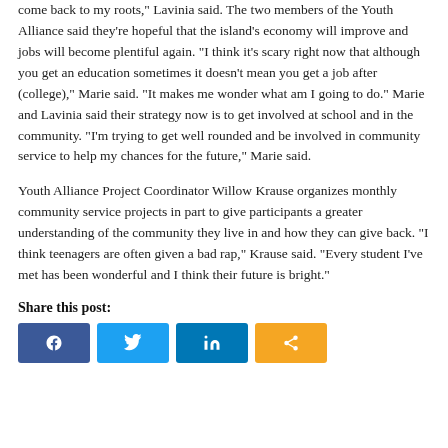come back to my roots," Lavinia said. The two members of the Youth Alliance said they're hopeful that the island's economy will improve and jobs will become plentiful again. "I think it's scary right now that although you get an education sometimes it doesn't mean you get a job after (college)," Marie said. "It makes me wonder what am I going to do." Marie and Lavinia said their strategy now is to get involved at school and in the community. "I'm trying to get well rounded and be involved in community service to help my chances for the future," Marie said.
Youth Alliance Project Coordinator Willow Krause organizes monthly community service projects in part to give participants a greater understanding of the community they live in and how they can give back. "I think teenagers are often given a bad rap," Krause said. "Every student I've met has been wonderful and I think their future is bright."
Share this post:
[Figure (infographic): Four social media share buttons: Facebook (blue), Twitter (light blue), LinkedIn (dark blue), Share/other (orange), each with respective icons]